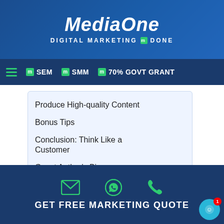MediaOne — DIGITAL MARKETING DONE
SEM | SMM | 70% GOVT GRANT
Produce High-quality Content
Bonus Tips
Conclusion: Think Like a Customer
Guest Author's Bio
“Nobody cares how much you know until they know how much you care.” These are words by Theodore Roosevelt that have been spun by throngs of leaders, influencers, and motivational speakers worldwide. It rings true to this day, even
GET FREE MARKETING QUOTE